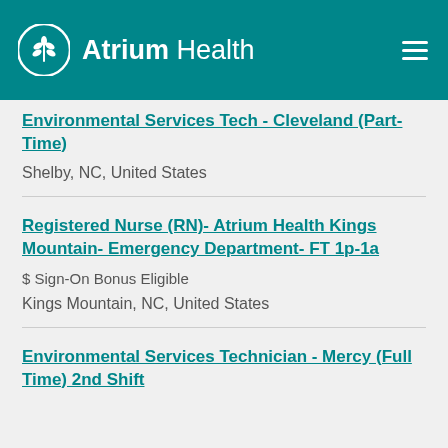Atrium Health
Environmental Services Tech - Cleveland (Part-Time)
Shelby, NC, United States
Registered Nurse (RN)- Atrium Health Kings Mountain- Emergency Department- FT 1p-1a
$ Sign-On Bonus Eligible
Kings Mountain, NC, United States
Environmental Services Technician - Mercy (Full Time) 2nd Shift